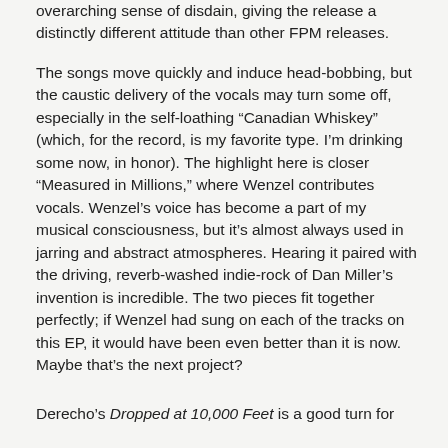overarching sense of disdain, giving the release a distinctly different attitude than other FPM releases.
The songs move quickly and induce head-bobbing, but the caustic delivery of the vocals may turn some off, especially in the self-loathing “Canadian Whiskey” (which, for the record, is my favorite type. I’m drinking some now, in honor). The highlight here is closer “Measured in Millions,” where Wenzel contributes vocals. Wenzel’s voice has become a part of my musical consciousness, but it’s almost always used in jarring and abstract atmospheres. Hearing it paired with the driving, reverb-washed indie-rock of Dan Miller’s invention is incredible. The two pieces fit together perfectly; if Wenzel had sung on each of the tracks on this EP, it would have been even better than it is now. Maybe that’s the next project?
Derecho’s Dropped at 10,000 Feet is a good turn for